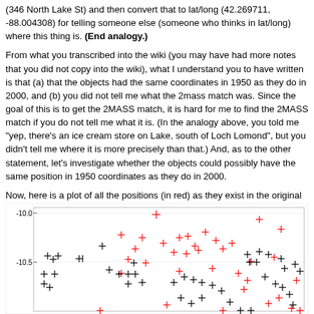(346 North Lake St) and then convert that to lat/long (42.269711, -88.004308) for telling someone else (someone who thinks in lat/long) where this thing is. (End analogy.)
From what you transcribed into the wiki (you may have had more notes that you did not copy into the wiki), what I understand you to have written is that (a) that the objects had the same coordinates in 1950 as they do in 2000, and (b) you did not tell me what the 2mass match was. Since the goal of this is to get the 2MASS match, it is hard for me to find the 2MASS match if you do not tell me what it is. (In the analogy above, you told me "yep, there's an ice cream store on Lake, south of Loch Lomond", but you didn't tell me where it is more precisely than that.) And, as to the other statement, let's investigate whether the objects could possibly have the same position in 1950 coordinates as they do in 2000.
Now, here is a plot of all the positions (in red) as they exist in the original 1950 coordinates from Shevchenko, and the positions precessed to 2000 coordinates (in black). Look how big that shift is.
[Figure (continuous-plot): Scatter plot showing positions in 1950 coordinates (red plus signs) and positions precessed to 2000 coordinates (black plus signs). Y-axis shows values around -10.0 to -10.5. The two clusters of points are visibly shifted from each other, demonstrating the coordinate precession shift.]